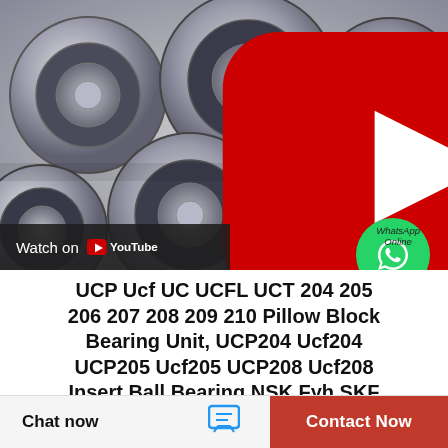[Figure (photo): Photo of multiple ball bearings (pillow block bearing units) arranged on a light gray surface. A YouTube play button (red rounded rectangle with white triangle) overlays the center-top. A 'Watch on YouTube' dark bar appears bottom-left. A WhatsApp green circle icon appears bottom-right with 'WhatsApp Online' text.]
UCP Ucf UC UCFL UCT 204 205 206 207 208 209 210 Pillow Block Bearing Unit, UCP204 Ucf204 UCP205 Ucf205 UCP208 Ucf208 Insert Ball Bearing NSK Fyh SKF
Chat now
Contact Now